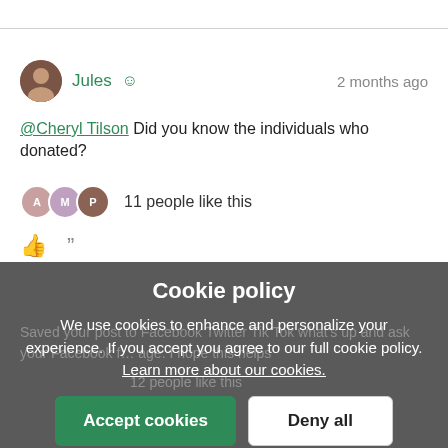Jules · 2 months ago
@Cheryl Tilson Did you know the individuals who donated?
11 people like this
[Figure (screenshot): Cookie policy overlay modal with Accept cookies and Deny all buttons, and Cookie settings link below. Background shows social media comment section.]
Cookie policy
We use cookies to enhance and personalize your experience. If you accept you agree to our full cookie policy. Learn more about our cookies.
Accept cookies
Deny all
Cookie settings
12 people like this